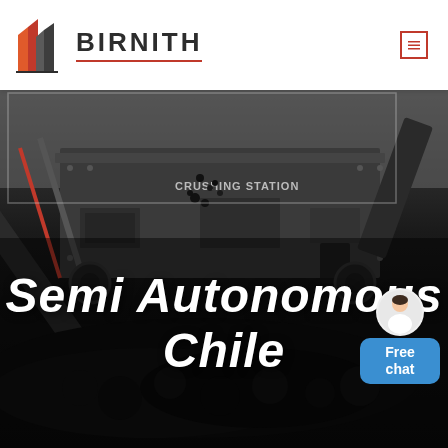[Figure (logo): Birnith company logo with orange and grey building/construction icon]
BIRNITH
[Figure (photo): Industrial crushing station machinery with coal/rock material, dark industrial setting with conveyor belts and heavy equipment]
Semi Autonomous Chile
Free chat